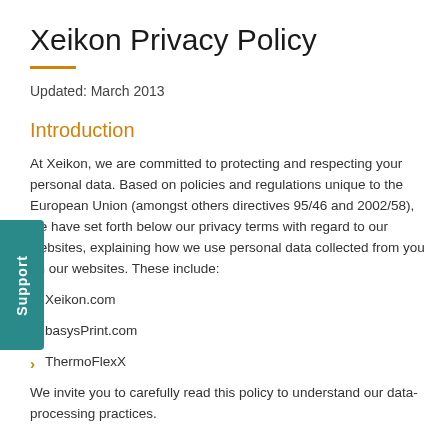Xeikon Privacy Policy
Updated: March 2013
Introduction
At Xeikon, we are committed to protecting and respecting your personal data. Based on policies and regulations unique to the European Union (amongst others directives 95/46 and 2002/58), we have set forth below our privacy terms with regard to our websites, explaining how we use personal data collected from you on our websites. These include:
Xeikon.com
basysPrint.com
ThermoFlexX
We invite you to carefully read this policy to understand our data-processing practices.